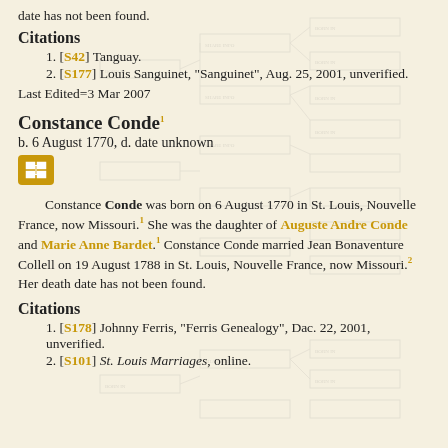date has not been found.
Citations
1. [S42] Tanguay.
2. [S177] Louis Sanguinet, "Sanguinet", Aug. 25, 2001, unverified.
Last Edited=3 Mar 2007
Constance Conde¹
b. 6 August 1770, d. date unknown
Constance Conde was born on 6 August 1770 in St. Louis, Nouvelle France, now Missouri.¹ She was the daughter of Auguste Andre Conde and Marie Anne Bardet.¹ Constance Conde married Jean Bonaventure Collell on 19 August 1788 in St. Louis, Nouvelle France, now Missouri.² Her death date has not been found.
Citations
1. [S178] Johnny Ferris, "Ferris Genealogy", Dac. 22, 2001, unverified.
2. [S101] St. Louis Marriages, online.